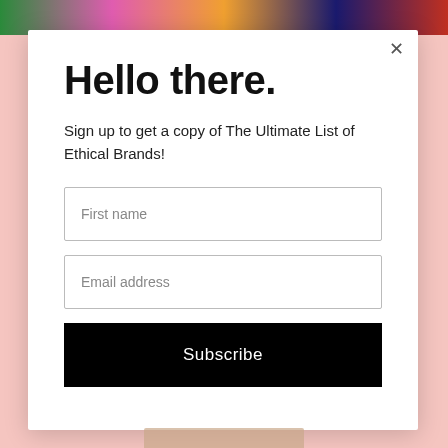[Figure (screenshot): Colorful banner image strip at the top of the page behind the modal]
Hello there.
Sign up to get a copy of The Ultimate List of Ethical Brands!
First name
Email address
Subscribe